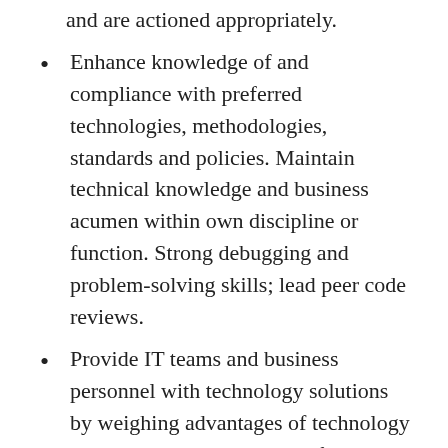and are actioned appropriately.
Enhance knowledge of and compliance with preferred technologies, methodologies, standards and policies. Maintain technical knowledge and business acumen within own discipline or function. Strong debugging and problem-solving skills; lead peer code reviews.
Provide IT teams and business personnel with technology solutions by weighing advantages of technology trends, market availability of products, risks and benefits of technology to meet business/IT needs. Participate in IT architecture review and standards setting. Assist in the development of white papers, conducting presentations as needed to explain why a technology is